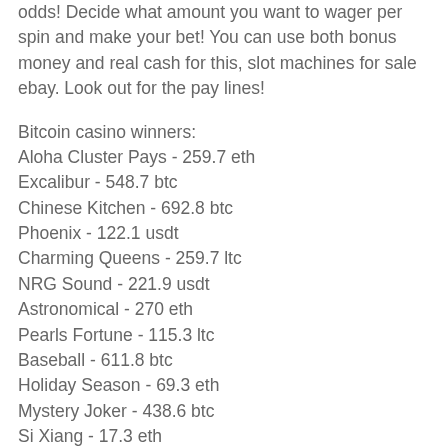odds! Decide what amount you want to wager per spin and make your bet! You can use both bonus money and real cash for this, slot machines for sale ebay. Look out for the pay lines!
Bitcoin casino winners:
Aloha Cluster Pays - 259.7 eth
Excalibur - 548.7 btc
Chinese Kitchen - 692.8 btc
Phoenix - 122.1 usdt
Charming Queens - 259.7 ltc
NRG Sound - 221.9 usdt
Astronomical - 270 eth
Pearls Fortune - 115.3 ltc
Baseball - 611.8 btc
Holiday Season - 69.3 eth
Mystery Joker - 438.6 btc
Si Xiang - 17.3 eth
Golden Ticket - 669.8 ltc
Qixi Festival - 741.3 bch